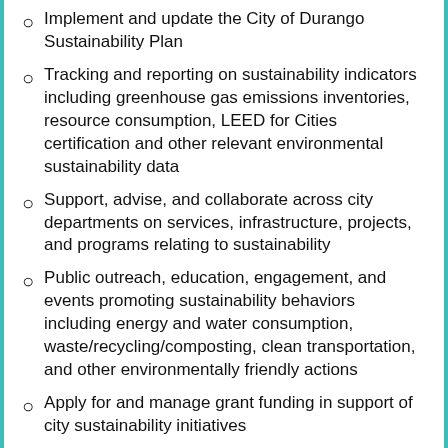Implement and update the City of Durango Sustainability Plan
Tracking and reporting on sustainability indicators including greenhouse gas emissions inventories, resource consumption, LEED for Cities certification and other relevant environmental sustainability data
Support, advise, and collaborate across city departments on services, infrastructure, projects, and programs relating to sustainability
Public outreach, education, engagement, and events promoting sustainability behaviors including energy and water consumption, waste/recycling/composting, clean transportation, and other environmentally friendly actions
Apply for and manage grant funding in support of city sustainability initiatives
Evaluate city code and policies for sustainability impact and propose amendments as warranted